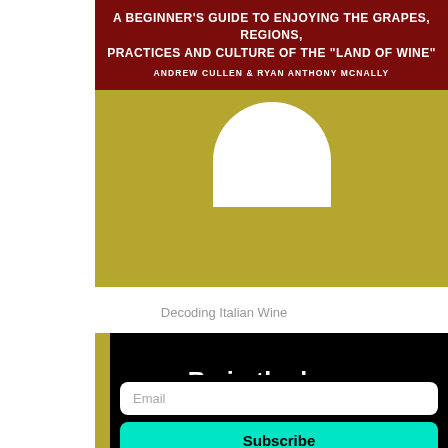[Figure (photo): Book cover for 'Decoding Italian Wine: A Beginner's Guide to Enjoying the Grapes, Regions, Practices and Culture of the Land of Wine' by Andrew Cullen & Ryan Anthony McNally. Dark red top section with title text, olive/gold lower section with white wine glass silhouette.]
Decoding Italian Wine
Be in the know.
Get our reviews sent right to you. No spam, ever.
Email
Subscribe